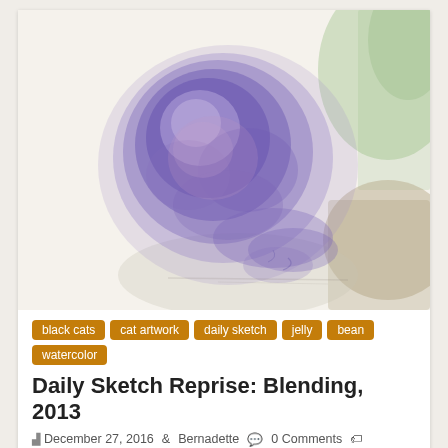[Figure (illustration): Watercolor painting of a cat curled up, rendered in purple/blue tones with green and tan background washes]
black cats
cat artwork
daily sketch
jelly
bean
watercolor
Daily Sketch Reprise: Blending, 2013
December 27, 2016  Bernadette  0 Comments
black cat, black cats, cat art, cat artwork, cat sketches, cats, watercolor, watercolor of cat